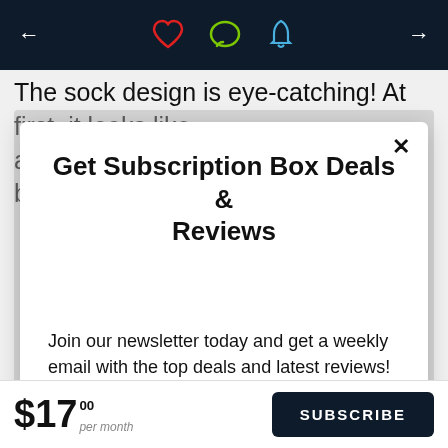← ♥ 💬 🔔 →
The sock design is eye-catching! At first, it looks like a mechanical robot inspired pattern, but as we
Get Subscription Box Deals & Reviews
Join our newsletter today and get a weekly email with the top deals and latest reviews!
$17.00 per month  SUBSCRIBE